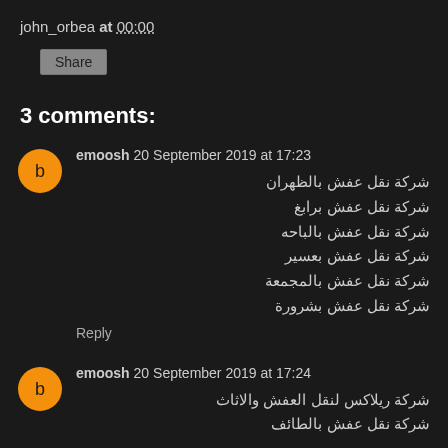john_orbea at 00:00
Share
3 comments:
emoosh 20 September 2019 at 17:23
شركة نقل عفش بالظهران
شركة نقل عفش برابغ
شركة نقل عفش بالباحه
شركة نقل عفش بعسير
شركة نقل عفش بالمجمعة
شركة نقل عفش بشرورة
Reply
emoosh 20 September 2019 at 17:24
شركة ريلاكس لنقل العفش والاثاث
شركة نقل عفش بالطائف